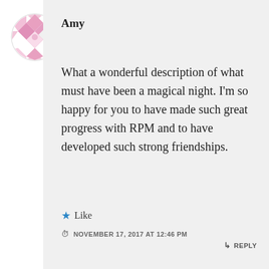[Figure (illustration): Pink geometric quilt-pattern avatar icon in a circle]
Amy
What a wonderful description of what must have been a magical night. I'm so happy for you to have made such great progress with RPM and to have developed such strong friendships.
★ Like
NOVEMBER 17, 2017 AT 12:46 PM  ↳ REPLY